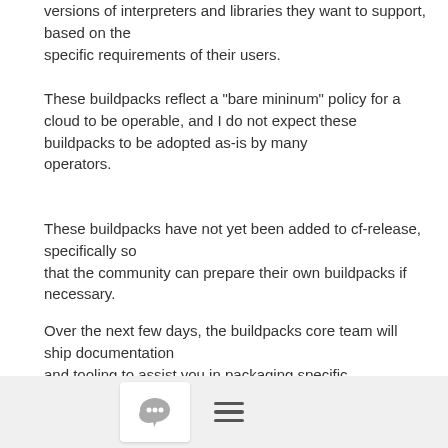versions of interpreters and libraries they want to support, based on the specific requirements of their users.
These buildpacks reflect a "bare mininum" policy for a cloud to be operable, and I do not expect these buildpacks to be adopted as-is by many operators.
These buildpacks have not yet been added to cf-release, specifically so that the community can prepare their own buildpacks if necessary.
Over the next few days, the buildpacks core team will ship documentation and tooling to assist you in packaging specific dependencies for your instance of CF. I'll start a new thread on this list early next week
[Figure (other): Footer bar with a chat icon button (speech bubble icon in a white rounded box) and a hamburger menu icon (three horizontal lines)]